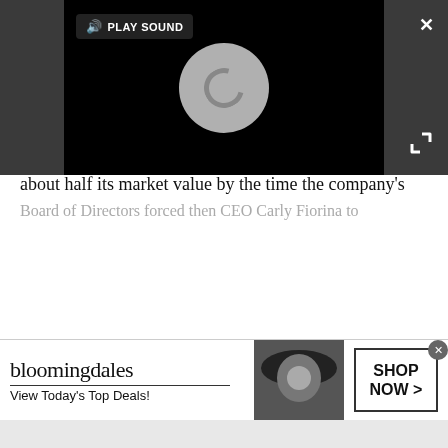[Figure (screenshot): Video player with black background, circular loading indicator, Play Sound button, close X button, and expand arrows button]
criticized throughout the technology markets as a potential mistake.
2005
After the bubble burst, HP was impacted by the resulting recession of the early 2000s. HP's stock lost about half its market value by the time the company's Board of Directors forced then CEO Carly Fiorina to
[Figure (screenshot): Bloomingdale's advertisement banner: logo, View Today's Top Deals tagline, woman with hat image, SHOP NOW button]